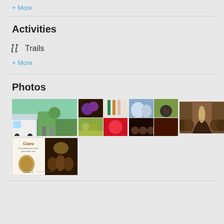+ More
Activities
Trails
+ More
Photos
[Figure (photo): Grid of tourism/winery photos including outdoor vineyard scene, wine bottles, barrels, wine cellar tunnel, and a Giara winery poster]
+ More